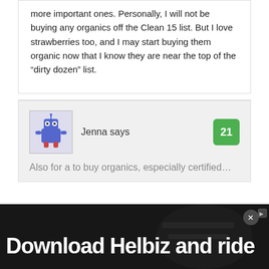more important ones. Personally, I will not be buying any organics off the Clean 15 list. But I love strawberries too, and I may start buying them organic now that I know they are near the top of the “dirty dozen” list.
Jenna says
21
Also for a to buy organics, especially certified...